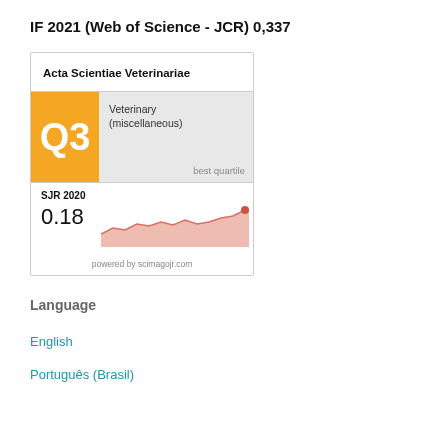IF 2021 (Web of Science - JCR) 0,337
[Figure (infographic): SCImago Journal Rank card for Acta Scientiae Veterinariae showing Q3 quartile in Veterinary (miscellaneous), SJR 2020 value of 0.18, and a small area line chart trending upward, powered by scimagojr.com]
Language
English
Português (Brasil)